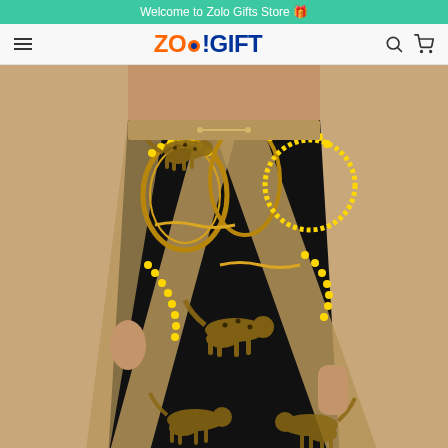Welcome to Zolo Gifts Store 🎁
[Figure (logo): ZoloGift store logo with orange and blue text, hamburger menu on left, search and cart icons on right]
[Figure (photo): Male model wearing patterned swim shorts with black background featuring gold chains, yellow beaded necklaces, and leopard print animal silhouettes on a khaki/tan base]